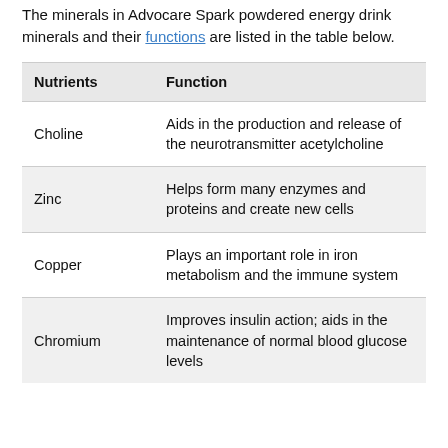The minerals in Advocare Spark powdered energy drink minerals and their functions are listed in the table below.
| Nutrients | Function |
| --- | --- |
| Choline | Aids in the production and release of the neurotransmitter acetylcholine |
| Zinc | Helps form many enzymes and proteins and create new cells |
| Copper | Plays an important role in iron metabolism and the immune system |
| Chromium | Improves insulin action; aids in the maintenance of normal blood glucose levels |